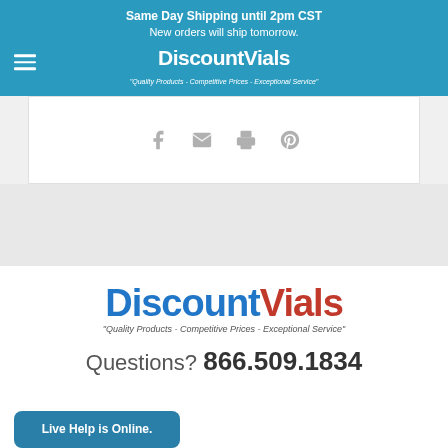Same Day Shipping until 2pm CST
New orders will ship tomorrow.
[Figure (logo): DiscountVials logo in white on teal header bar]
[Figure (infographic): Social sharing icons: Facebook, Email, Print, Pinterest]
[Figure (logo): DiscountVials footer logo - blue and red text with tagline 'Quality Products - Competitive Prices - Exceptional Service']
Questions? 866.509.1834
Live Help is Online.